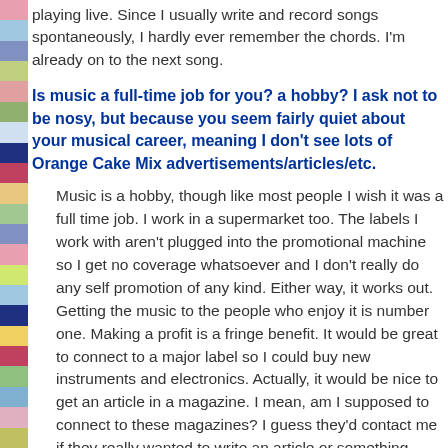playing live. Since I usually write and record songs spontaneously, I hardly ever remember the chords. I'm already on to the next song.
Is music a full-time job for you? a hobby? I ask not to be nosy, but because you seem fairly quiet about your musical career, meaning I don't see lots of Orange Cake Mix advertisements/articles/etc.
Music is a hobby, though like most people I wish it was a full time job. I work in a supermarket too. The labels I work with aren't plugged into the promotional machine so I get no coverage whatsoever and I don't really do any self promotion of any kind. Either way, it works out. Getting the music to the people who enjoy it is number one. Making a profit is a fringe benefit. It would be great to connect to a major label so I could buy new instruments and electronics. Actually, it would be nice to get an article in a magazine. I mean, am I supposed to connect to these magazines? I guess they'd contact me if they really wanted to write an article or something.